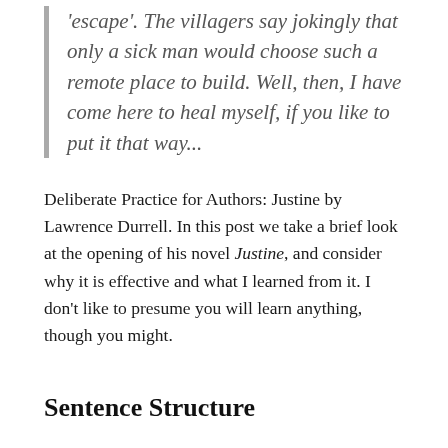'escape'. The villagers say jokingly that only a sick man would choose such a remote place to build. Well, then, I have come here to heal myself, if you like to put it that way...
Deliberate Practice for Authors: Justine by Lawrence Durrell. In this post we take a brief look at the opening of his novel Justine, and consider why it is effective and what I learned from it. I don't like to presume you will learn anything, though you might.
Sentence Structure